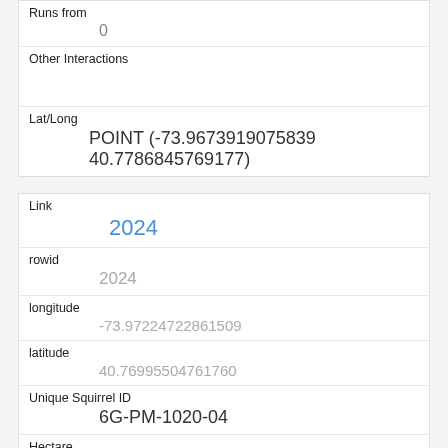| Runs from | 0 |
| Other Interactions |  |
| Lat/Long | POINT (-73.9673919075839 40.7786845769177) |
| Link | 2024 |
| rowid | 2024 |
| longitude | -73.97224722861509 |
| latitude | 40.76995504761760 |
| Unique Squirrel ID | 6G-PM-1020-04 |
| Hectare | 06G |
| Shift |  |